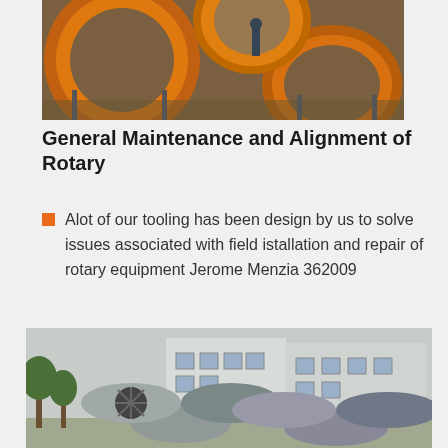[Figure (photo): Industrial factory floor with large orange circular rotary equipment components, a worker visible in background]
General Maintenance and Alignment of Rotary
Alot of our tooling has been design by us to solve issues associated with field istallation and repair of rotary equipment Jerome Menzia 362009
[Figure (photo): Outdoor industrial yard with large cylindrical rotary kiln/drum equipment in front of factory buildings]